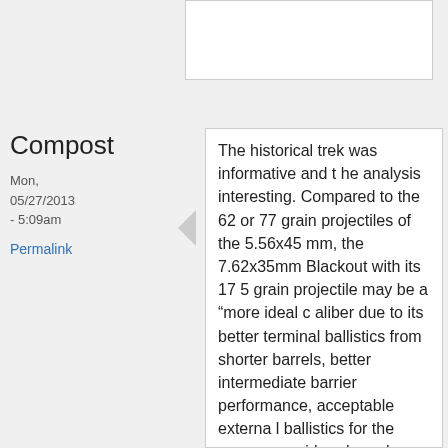[Figure (other): White box area at the top right of the page]
Compost
Mon, 05/27/2013 - 5:09am
Permalink
The historical trek was informative and the analysis interesting. Compared to the 62 or 77 grain projectiles of the 5.56x45 mm, the 7.62x35mm Blackout with its 175 grain projectile may be a "more ideal caliber due to its better terminal ballistics from shorter barrels, better intermediate barrier performance, acceptable external ballistics for the ranges considered, and better integration with suppressors."
But the 175 grain Blackout projectile has to compete also against 110 to 120 grain projectiles fired from modern 6.5 to 6.8 mm intermediate cartridges. All the intermediate cartridges achieve higher veloci